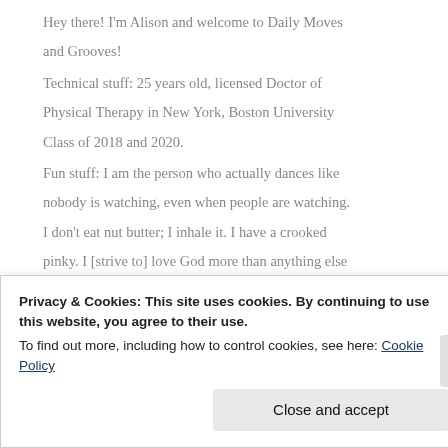Hey there! I'm Alison and welcome to Daily Moves and Grooves!
Technical stuff: 25 years old, licensed Doctor of Physical Therapy in New York, Boston University Class of 2018 and 2020.
Fun stuff: I am the person who actually dances like nobody is watching, even when people are watching. I don't eat nut butter; I inhale it. I have a crooked pinky. I [strive to] love God more than anything else ever.
Privacy & Cookies: This site uses cookies. By continuing to use this website, you agree to their use.
To find out more, including how to control cookies, see here: Cookie Policy
Close and accept